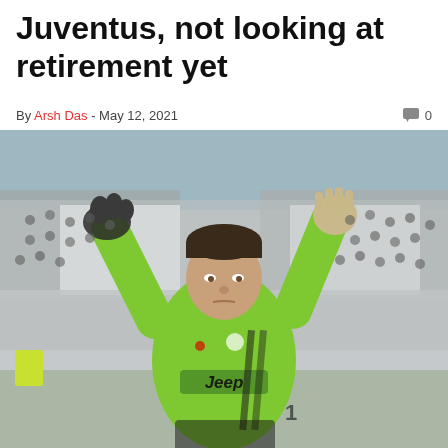Juventus, not looking at retirement yet
By Arsh Das - May 12, 2021   0
[Figure (photo): A goalkeeper wearing a bright green Juventus Jeep jersey raises both arms above his head toward a crowd of fans in a stadium with white seats.]